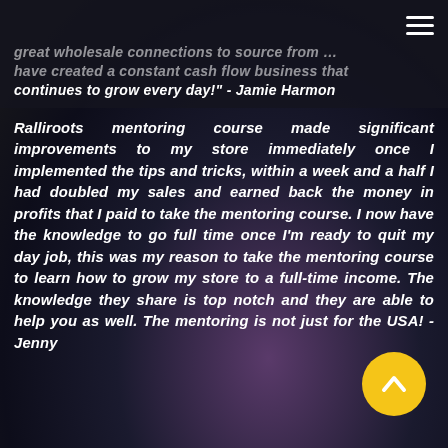great wholesale connections to source from … have created a constant cash flow business that continues to grow every day!" - Jamie Harmon
Ralliroots mentoring course made significant improvements to my store immediately once I implemented the tips and tricks, within a week and a half I had doubled my sales and earned back the money in profits that I paid to take the mentoring course. I now have the knowledge to go full time once I'm ready to quit my day job, this was my reason to take the mentoring course to learn how to grow my store to a full-time income. The knowledge they share is top notch and they are able to help you as well. The mentoring is not just for the USA! - Jenny
[Figure (other): Yellow circular scroll-to-top button with upward chevron arrow]